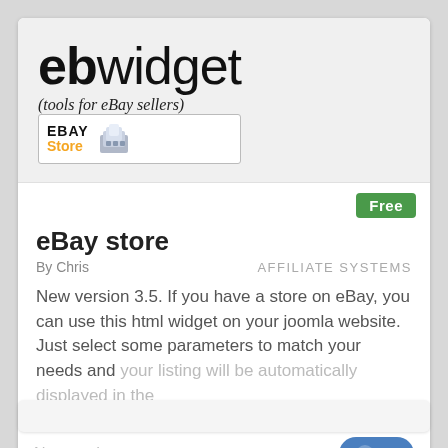[Figure (logo): ebwidget logo with 'eb' in bold black and 'widget' in thin black, tagline '(tools for eBay sellers)' below in italic, and eBay Store badge with database icon to the right]
Free
eBay store
By Chris   AFFILIATE SYSTEMS
New version 3.5. If you have a store on eBay, you can use this html widget on your joomla website. Just select some parameters to match your needs and your listing will be automatically displayed in the
Not rated
[Figure (logo): Joomla J3 badge in blue rounded rectangle]